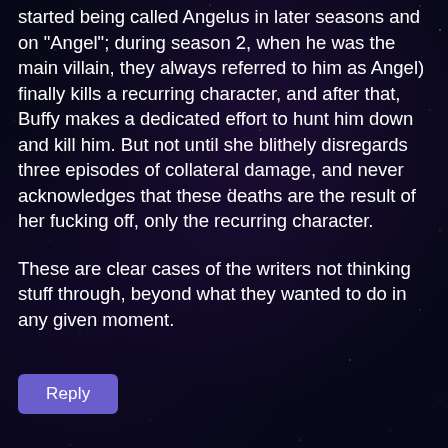started being called Angelus in later seasons and on “Angel”; during season 2, when he was the main villain, they always referred to him as Angel) finally kills a recurring character, and after that, Buffy makes a dedicated effort to hunt him down and kill him. But not until she blithely disregards three episodes of collateral damage, and never acknowledges that these deaths are the result of her fucking off, only the recurring character.
These are clear cases of the writers not thinking stuff through, beyond what they wanted to do in any given moment.
Reply